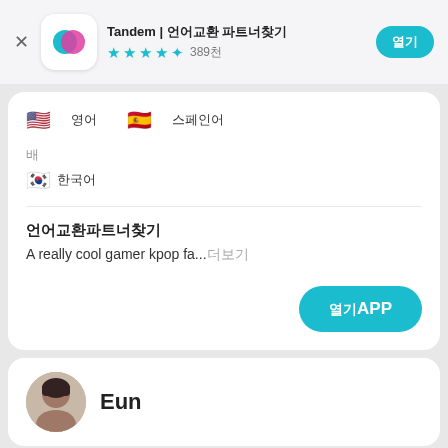Tandem | 언어교환 파트너 찾기
★★★★☆ 389천
🇺🇸 영어  🇪🇸 스페인어
배
🇰🇷 한국어
언어교환파트너찾기
A really cool gamer kpop fa...더보기
열기APP
Eun